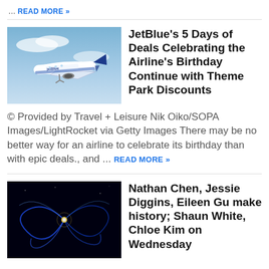... READ MORE »
[Figure (photo): JetBlue airplane in flight against blue sky]
JetBlue's 5 Days of Deals Celebrating the Airline's Birthday Continue with Theme Park Discounts
© Provided by Travel + Leisure Nik Oiko/SOPA Images/LightRocket via Getty Images There may be no better way for an airline to celebrate its birthday than with epic deals., and ... READ MORE »
[Figure (photo): Abstract blue light trails on black background, representing figure skating motion]
Nathan Chen, Jessie Diggins, Eileen Gu make history; Shaun White, Chloe Kim on Wednesday